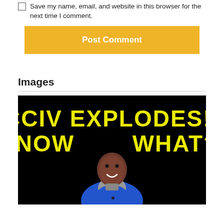Save my name, email, and website in this browser for the next time I comment.
Post Comment
Images
[Figure (photo): YouTube thumbnail with black background showing bold yellow text 'CCIV EXPLODES!! NOW WHAT?' and a man in a blue blazer and grey turtleneck smiling at the camera]